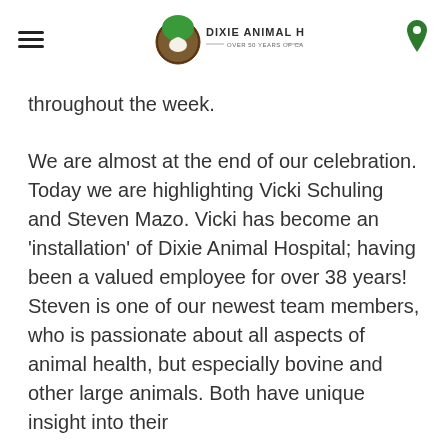Dixie Animal Hospital — Over 50 Years of Caring
throughout the week.
We are almost at the end of our celebration. Today we are highlighting Vicki Schuling and Steven Mazo. Vicki has become an 'installation' of Dixie Animal Hospital; having been a valued employee for over 38 years! Steven is one of our newest team members, who is passionate about all aspects of animal health, but especially bovine and other large animals. Both have unique insight into their
Why did you choose this field?
Vicki Schuling (VS): When I was young, I used to raise horses in Colorado. We would meet a lot of large animal